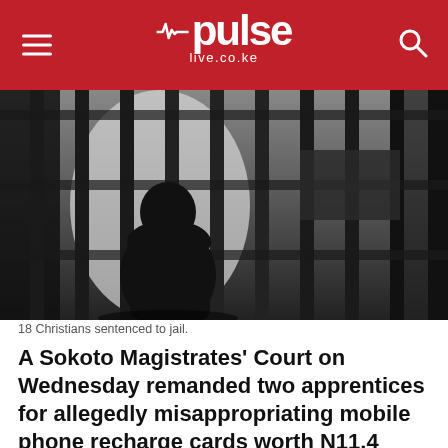pulse live.co.ke
[Figure (photo): Silhouette of a person sitting with head in hands behind prison bars, black and white photograph.]
18 Christians sentenced to jail.
A Sokoto Magistrates' Court on Wednesday remanded two apprentices for allegedly misappropriating mobile phone recharge cards worth N11.4 million.